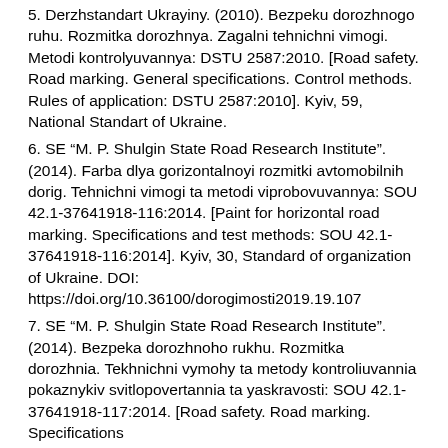5. Derzhstandart Ukrayiny. (2010). Bezpeku dorozhnogo ruhu. Rozmitka dorozhnya. Zagalni tehnichni vimogi. Metodi kontrolyuvannya: DSTU 2587:2010. [Road safety. Road marking. General specifications. Control methods. Rules of application: DSTU 2587:2010]. Kyiv, 59, National Standart of Ukraine.
6. SE "M. P. Shulgin State Road Research Institute". (2014). Farba dlya gorizontalnoyi rozmitki avtomobilnih dorig. Tehnichni vimogi ta metodi viprobovuvannya: SOU 42.1-37641918-116:2014. [Paint for horizontal road marking. Specifications and test methods: SOU 42.1-37641918-116:2014]. Kyiv, 30, Standard of organization of Ukraine. DOI: https://doi.org/10.36100/dorogimosti2019.19.107
7. SE "M. P. Shulgin State Road Research Institute". (2014). Bezpeka dorozhnoho rukhu. Rozmitka dorozhnia. Tekhnichni vymohy ta metody kontroliuvannia pokaznykiv svitlopovertannia ta yaskravosti: SOU 42.1-37641918-117:2014. [Road safety. Road marking. Specifications